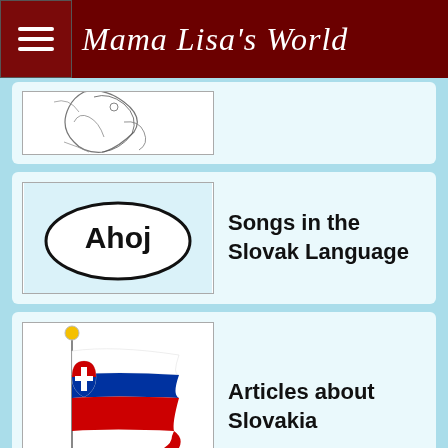Mama Lisa's World
[Figure (illustration): Partial illustration visible at top of page, appears to be a line drawing]
Songs in the Slovak Language
[Figure (illustration): Speech bubble with 'Ahoj' text inside]
Articles about Slovakia
[Figure (illustration): Slovakia flag on a pole, waving]
Countries and Cultures in Europe
[Figure (illustration): Red silhouette map of Europe on light blue background]